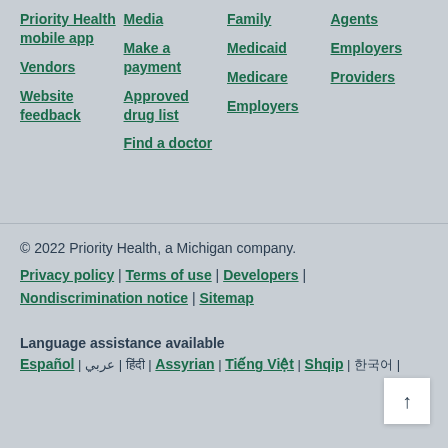Priority Health mobile app
Vendors
Website feedback
Media
Make a payment
Approved drug list
Find a doctor
Family
Medicaid
Medicare
Employers
Agents
Employers
Providers
© 2022 Priority Health, a Michigan company.
Privacy policy | Terms of use | Developers | Nondiscrimination notice | Sitemap
Language assistance available
Español | عربي | हिंदी | Assyrian | Tiếng Việt | Shqip | 한국어